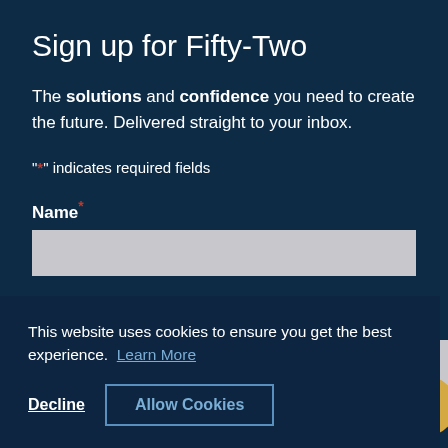Sign up for Fifty-Two
The solutions and confidence you need to create the future. Delivered straight to your inbox.
"*" indicates required fields
Name *
[Figure (screenshot): Cookie consent banner overlay with text 'This website uses cookies to ensure you get the best experience. Learn More' and two buttons: 'Decline' and 'Allow Cookies']
Last